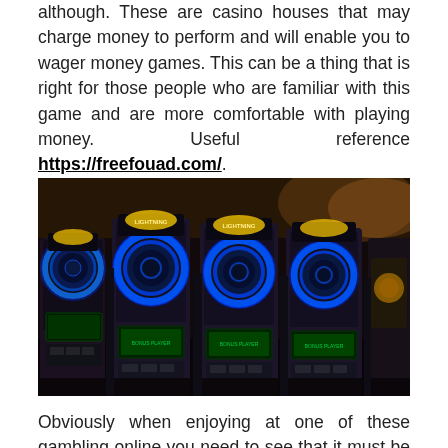although. These are casino houses that may charge money to perform and will enable you to wager money games. This can be a thing that is right for those people who are familiar with this game and are more comfortable with playing money. Useful reference https://freefouad.com/.
[Figure (photo): Photo of four illuminated slot machines with blue neon circular displays and signs, taken in a dark casino environment.]
Obviously when enjoying at one of these gambling online you need to see that it must be getting properly